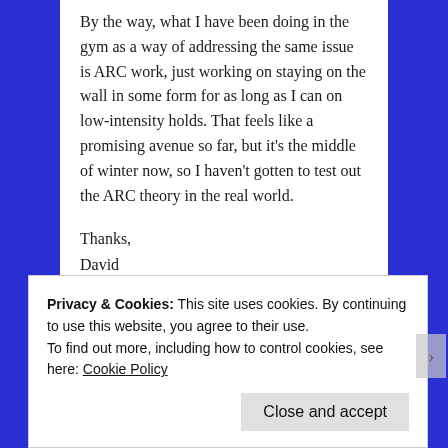By the way, what I have been doing in the gym as a way of addressing the same issue is ARC work, just working on staying on the wall in some form for as long as I can on low-intensity holds. That feels like a promising avenue so far, but it's the middle of winter now, so I haven't gotten to test out the ARC theory in the real world.
Thanks,
David
★ Like
Reply
Privacy & Cookies: This site uses cookies. By continuing to use this website, you agree to their use.
To find out more, including how to control cookies, see here: Cookie Policy
Close and accept